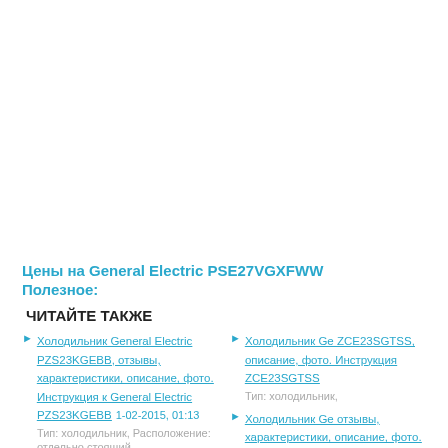Цены на General Electric PSE27VGXFWW
Полезное:
ЧИТАЙТЕ ТАКЖЕ
Холодильник General Electric PZS23KGEBB, отзывы, характеристики, описание, фото. Инструкция к General Electric PZS23KGEBB  1-02-2015, 01:13
Тип: холодильник, Расположение: отдельно стоящий,
Холодильник General Electric GSE25MGYCSS, отзывы, характеристики, описание, фото.
Холодильник General Electric ZCE23SGTSS, описание, фото. Инструкция ZCE23SGTSS
Тип: холодильник,
Холодильник General Electric, отзывы, характеристики, описание, фото.